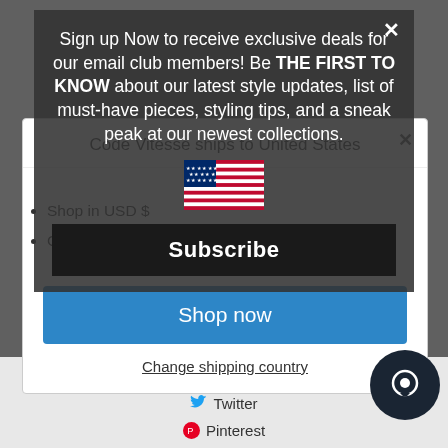Sign up Now to receive exclusive deals for our email club members! Be THE FIRST TO KNOW about our latest style updates, list of must-have pieces, styling tips, and a sneak peak at our newest collections.
Subscribe
Code Vitesse ships to United States
Shop in USD $
Get shipping options for United States
Shop now
Change shipping country
Facebook
Twitter
Pinterest